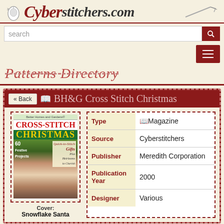Cyberstitchers.com
search
Patterns Directory
BH&G Cross Stitch Christmas
| Field | Value |
| --- | --- |
| Type | Magazine |
| Source | Cyberstitchers |
| Publisher | Meredith Corporation |
| Publication Year | 2000 |
| Designer | Various |
Cover: Snowflake Santa